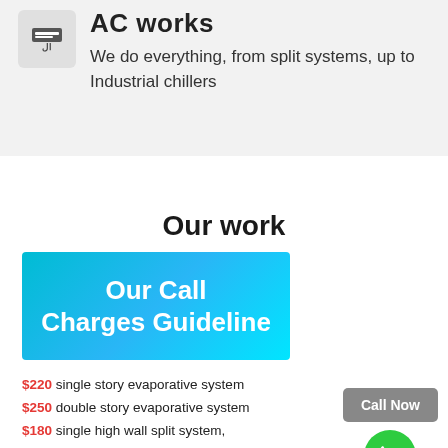[Figure (logo): AC icon showing air conditioning unit symbol with two horizontal lines and wavy flow indicators]
AC works
We do everything, from split systems, up to Industrial chillers
Our work
[Figure (infographic): Cyan/blue gradient banner reading 'Our Call Charges Guideline' in white bold text]
$220 single story evaporative system
$250 double story evaporative system
$180 single high wall split system,
$90 for each additional split system
$180 ducted split system
$180 heater system
[Figure (other): Gray 'Call Now' button and green phone icon circle]